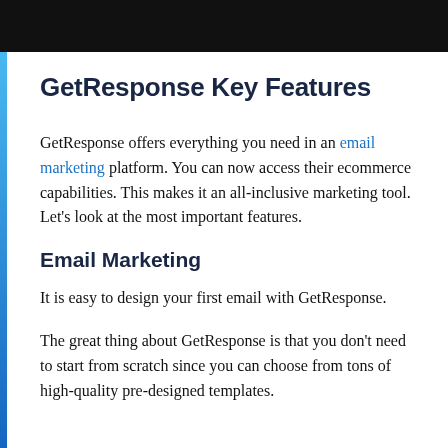GetResponse Key Features
GetResponse offers everything you need in an email marketing platform. You can now access their ecommerce capabilities. This makes it an all-inclusive marketing tool. Let's look at the most important features.
Email Marketing
It is easy to design your first email with GetResponse.
The great thing about GetResponse is that you don't need to start from scratch since you can choose from tons of high-quality pre-designed templates.